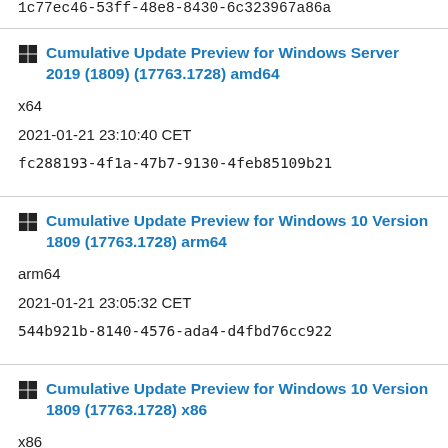1c77ec46-53ff-48e8-8430-6c323967a86a
Cumulative Update Preview for Windows Server 2019 (1809) (17763.1728) amd64
x64
2021-01-21 23:10:40 CET
fc288193-4f1a-47b7-9130-4feb85109b21
Cumulative Update Preview for Windows 10 Version 1809 (17763.1728) arm64
arm64
2021-01-21 23:05:32 CET
544b921b-8140-4576-ada4-d4fbd76cc922
Cumulative Update Preview for Windows 10 Version 1809 (17763.1728) x86
x86
2021-01-21 23:05:32 CET